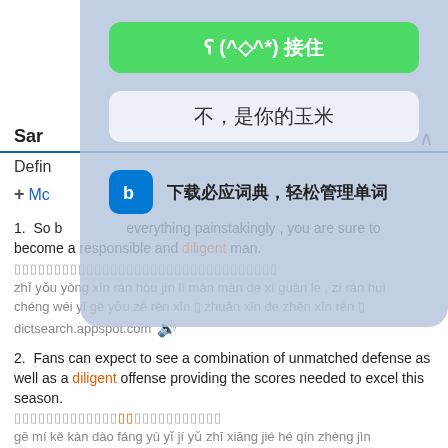[Figure (screenshot): Mobile app overlay popup with green button showing '(^◇^*) 接住', grey button showing '不，是你的玉米', and Bing dictionary app promotion row '下载必应词典，轻松管理单词']
Sam
Defin
+ Mo
1. So I everything painstakingly , you are sure to become a responsible and diligent man.

[Chinese characters]

zhǐ yǒu yòng xīn rán hòu jìn lì màn màn de xí guàn le , zì rán huì chéng wéi yī gè yǒu zé rèn xīn ▯ zhuān xīn de zhēn xīn rén ▯

dictsearch.appspot.com 🔊
2. Fans can expect to see a combination of unmatched defense as well as a diligent offense providing the scores needed to excel this season.

[Chinese characters]

gē mí kě kàn dào fáng yù yǐ jí yǔ zhī xiāng jié hé qín zhèng jìn gōng dé fēn xū yào tí gōng zhuó yuè zhè ge jì jié ▯